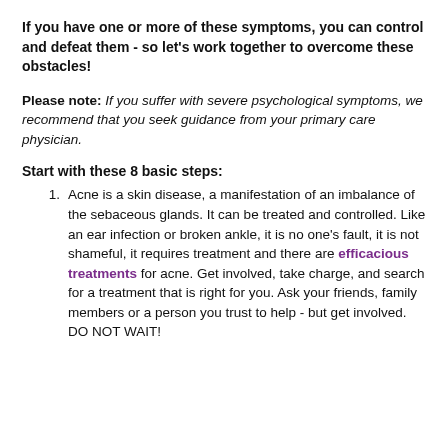If you have one or more of these symptoms, you can control and defeat them - so let's work together to overcome these obstacles!
Please note: If you suffer with severe psychological symptoms, we recommend that you seek guidance from your primary care physician.
Start with these 8 basic steps:
Acne is a skin disease, a manifestation of an imbalance of the sebaceous glands. It can be treated and controlled. Like an ear infection or broken ankle, it is no one's fault, it is not shameful, it requires treatment and there are efficacious treatments for acne. Get involved, take charge, and search for a treatment that is right for you. Ask your friends, family members or a person you trust to help - but get involved. DO NOT WAIT!